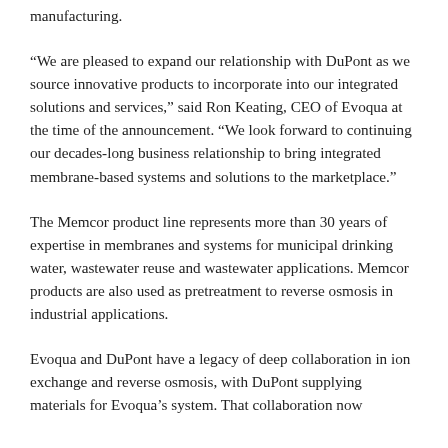manufacturing.
“We are pleased to expand our relationship with DuPont as we source innovative products to incorporate into our integrated solutions and services,” said Ron Keating, CEO of Evoqua at the time of the announcement. “We look forward to continuing our decades-long business relationship to bring integrated membrane-based systems and solutions to the marketplace.”
The Memcor product line represents more than 30 years of expertise in membranes and systems for municipal drinking water, wastewater reuse and wastewater applications. Memcor products are also used as pretreatment to reverse osmosis in industrial applications.
Evoqua and DuPont have a legacy of deep collaboration in ion exchange and reverse osmosis, with DuPont supplying materials for Evoqua’s system. That collaboration now